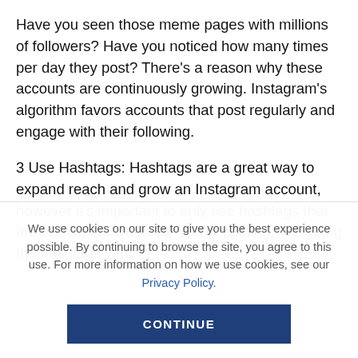Have you seen those meme pages with millions of followers? Have you noticed how many times per day they post? There's a reason why these accounts are continuously growing. Instagram's algorithm favors accounts that post regularly and engage with their following.
3 Use Hashtags: Hashtags are a great way to expand reach and grow an Instagram account, however it's important to only use hashtags that are relevant to whatever you're posting. Analyzing the hashtags your...
We use cookies on our site to give you the best experience possible. By continuing to browse the site, you agree to this use. For more information on how we use cookies, see our Privacy Policy.
CONTINUE